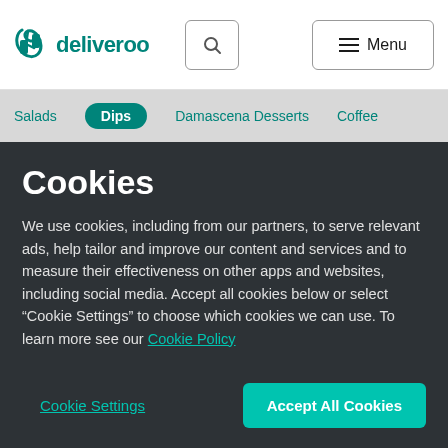deliveroo
Salads   Dips   Damascena Desserts   Coffee
Cookies
We use cookies, including from our partners, to serve relevant ads, help tailor and improve our content and services and to measure their effectiveness on other apps and websites, including social media. Accept all cookies below or select “Cookie Settings” to choose which cookies we can use. To learn more see our Cookie Policy
Cookie Settings
Accept All Cookies